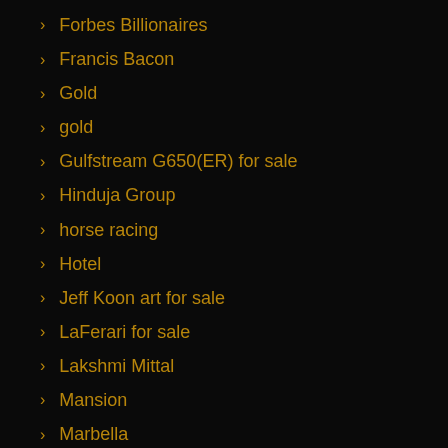Forbes Billionaires
Francis Bacon
Gold
gold
Gulfstream G650(ER) for sale
Hinduja Group
horse racing
Hotel
Jeff Koon art for sale
LaFerari for sale
Lakshmi Mittal
Mansion
Marbella